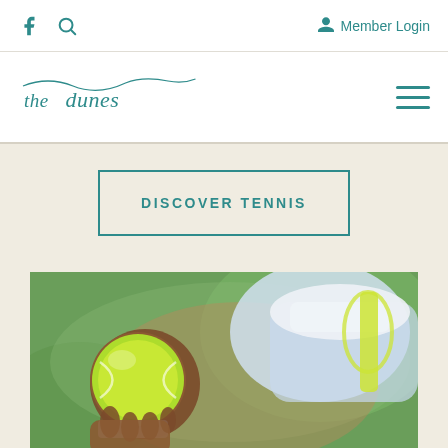Facebook | Search | Member Login
[Figure (logo): The Dunes cursive logo in teal, with hamburger menu icon on the right]
DISCOVER TENNIS
[Figure (photo): Close-up photo of a tennis player holding a yellow-green tennis ball, about to serve, with a racket visible in the background on a green court]